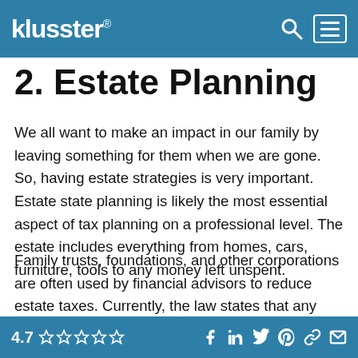klusster
2. Estate Planning
We all want to make an impact in our family by leaving something for them when we are gone. So, having estate strategies is very important. Estate state planning is likely the most essential aspect of tax planning on a professional level. The estate includes everything from homes, cars, furniture, tools to any money left unspent.
Family trusts, foundations, and other corporations are often used by financial advisors to reduce estate taxes. Currently, the law states that any estate with a worth lower than $10.5 million isn't subjected to estate taxes. They are subject to a
4.7 ☆☆☆☆☆